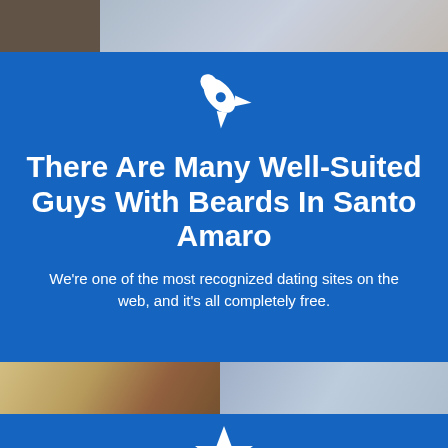[Figure (photo): Top photo strip showing people portraits]
[Figure (illustration): White rocket ship icon on blue background]
There Are Many Well-Suited Guys With Beards In Santo Amaro
We're one of the most recognized dating sites on the web, and it's all completely free.
[Figure (photo): Middle photo strip showing people portraits]
[Figure (illustration): White star icon on blue background]
Search For Guys With Beards